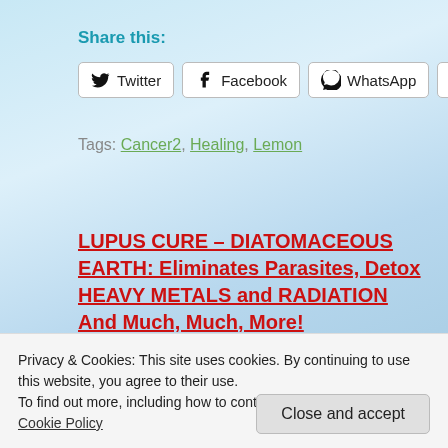Share this:
[Figure (screenshot): Social share buttons: Twitter, Facebook, WhatsApp, Telegram]
Tags: Cancer2, Healing, Lemon
LUPUS CURE – DIATOMACEOUS EARTH: Eliminates Parasites, Detox HEAVY METALS and RADIATION And Much, Much, More!
The power of positivity on your health
Leave a Reply
Privacy & Cookies: This site uses cookies. By continuing to use this website, you agree to their use. To find out more, including how to control cookies, see here: Cookie Policy